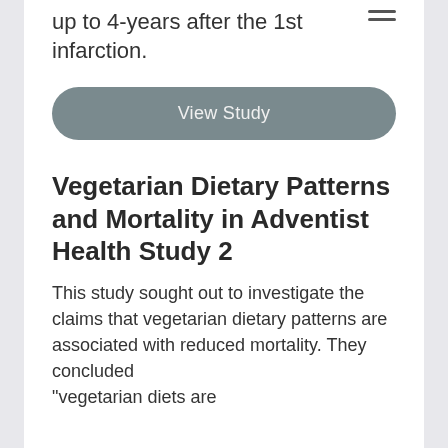up to 4-years after the 1st infarction.
[Figure (other): Hamburger menu icon (three horizontal lines)]
View Study
Vegetarian Dietary Patterns and Mortality in Adventist Health Study 2
This study sought out to investigate the claims that vegetarian dietary patterns are associated with reduced mortality. They concluded "vegetarian diets are